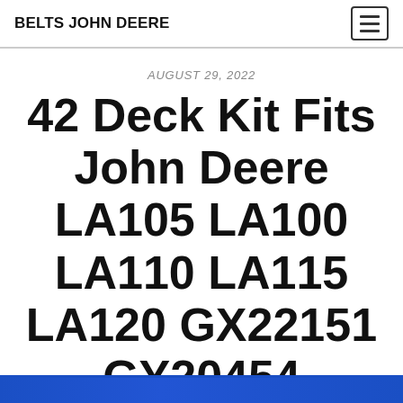BELTS JOHN DEERE
AUGUST 29, 2022
42 Deck Kit Fits John Deere LA105 LA100 LA110 LA115 LA120 GX22151 GY20454
[Figure (photo): Blue banner/image at the bottom of the page, partially visible]